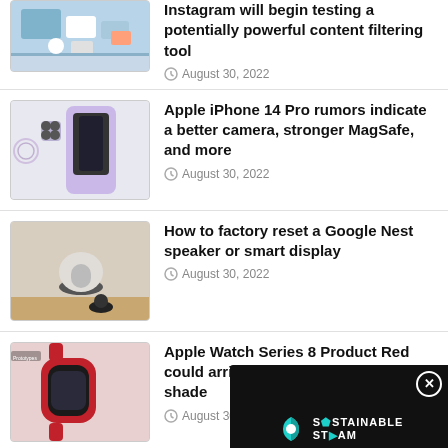Instagram will begin testing a potentially powerful content filtering tool — August 30, 2022
Apple iPhone 14 Pro rumors indicate a better camera, stronger MagSafe, and more — August 30, 2022
How to factory reset a Google Nest speaker or smart display — August 30, 2022
Apple Watch Series 8 Product Red could arrive in a slightly different shade — August 30, 2022
Samsung Galaxy Z Flip 4 ... the new clamshell worth... — August 30, 2022
[Figure (screenshot): Sustainable Steam video player overlay with teal progress bar and play button, with X close button]